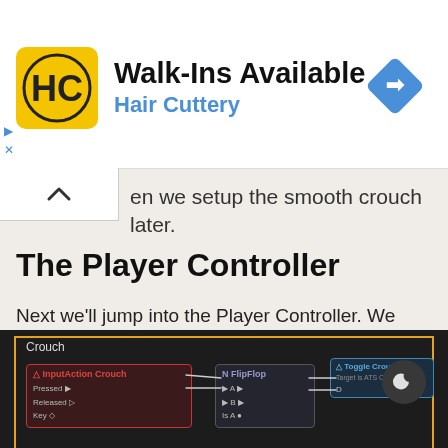[Figure (screenshot): Hair Cuttery advertisement banner with yellow logo, 'Walk-Ins Available' title, and blue navigation arrow icon]
en we setup the smooth crouch later.
The Player Controller
Next we’ll jump into the Player Controller. We need to setup an input so the player can initiate the crouch. I’ll call mine Crouch and wire it up so that it makes the interface call. I’m using the C key, but anything will work (that’s done under Edit – Project Settings – Input).
[Figure (screenshot): Unreal Engine Blueprint showing Crouch InputAction node connected to FlipFlop node connected to Toggle Crouch node]